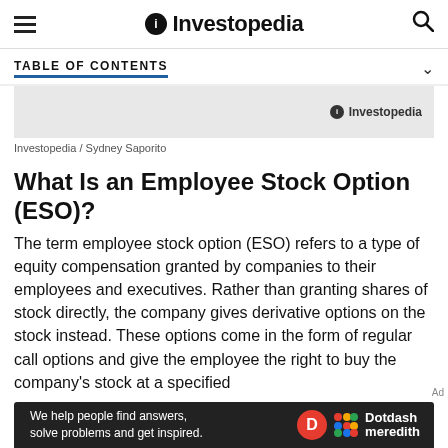Investopedia
TABLE OF CONTENTS
[Figure (screenshot): Gray image placeholder with Investopedia watermark logo in bottom right]
Investopedia / Sydney Saporito
What Is an Employee Stock Option (ESO)?
The term employee stock option (ESO) refers to a type of equity compensation granted by companies to their employees and executives. Rather than granting shares of stock directly, the company gives derivative options on the stock instead. These options come in the form of regular call options and give the employee the right to buy the company's stock at a specified
[Figure (infographic): Dotdash Meredith advertisement banner: 'We help people find answers, solve problems and get inspired.']